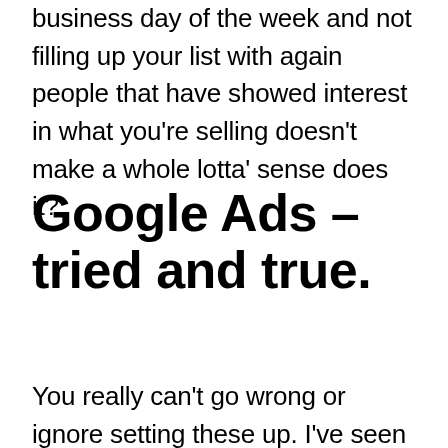business day of the week and not filling up your list with again people that have showed interest in what you're selling doesn't make a whole lotta' sense does it?
Google Ads – tried and true.
You really can't go wrong or ignore setting these up. I've seen & heard of